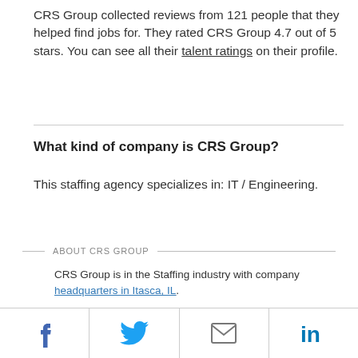CRS Group collected reviews from 121 people that they helped find jobs for. They rated CRS Group 4.7 out of 5 stars. You can see all their talent ratings on their profile.
What kind of company is CRS Group?
This staffing agency specializes in: IT / Engineering.
ABOUT CRS GROUP
CRS Group is in the Staffing industry with company headquarters in Itasca, IL.
[Figure (infographic): Social sharing bar with Facebook, Twitter, Email, and LinkedIn icons]